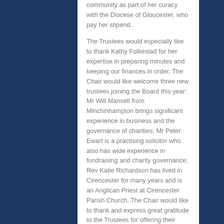community as part of her curacy with the Diocese of Gloucester, who pay her stipend.
The Trustees would especially like to thank Kathy Folkestad for her expertise in preparing minutes and keeping our finances in order. The Chair would like welcome three new trustees joining the Board this year: Mr Will Mansell from Minchinhampton brings significant experience in business and the governance of charities; Mr Peter Ewart is a practising solicitor who also has wide experience in fundraising and charity governance; Rev Katie Richardson has lived in Cirencester for many years and is an Anglican Priest at Cirencester Parish Church. The Chair would like to thank and express great gratitude to the Trustees for offering their time, gifts and care to the running of the charity this year.  We are also extremely grateful to Mr Tony Doyle for auditing our accounts without charge.
We would like to thank Canon Dr. Andrew Braddock, (Director of Mission and Ministry in